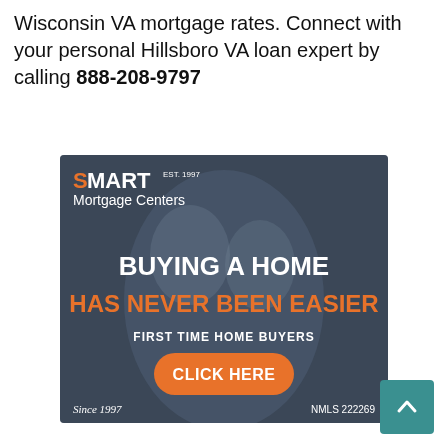Wisconsin VA mortgage rates. Connect with your personal Hillsboro VA loan expert by calling 888-208-9797
[Figure (infographic): Smart Mortgage Centers advertisement. Orange and white logo reading 'SMART EST. 1997 Mortgage Centers'. Background shows a couple smiling. Large bold white text: 'BUYING A HOME'. Large bold orange text: 'HAS NEVER BEEN EASIER'. White text: 'FIRST TIME HOME BUYERS'. Orange rounded button with white text: 'CLICK HERE'. Bottom left italic text: 'Since 1997'. Bottom right text: 'NMLS 222269'.]